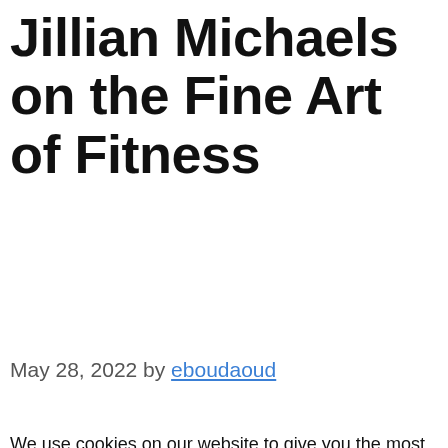Jillian Michaels on the Fine Art of Fitness
May 28, 2022 by eboudaoud
We use cookies on our website to give you the most relevant experience by remembering your preferences and repeat visits. By clicking “Accept All”, you consent to the use of ALL the cookies. However, you may visit "Cookie Settings" to provide a controlled consent.